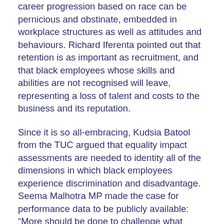career progression based on race can be pernicious and obstinate, embedded in workplace structures as well as attitudes and behaviours. Richard Iferenta pointed out that retention is as important as recruitment, and that black employees whose skills and abilities are not recognised will leave, representing a loss of talent and costs to the business and its reputation.
Since it is so all-embracing, Kudsia Batool from the TUC argued that equality impact assessments are needed to identity all of the dimensions in which black employees experience discrimination and disadvantage. Seema Malhotra MP made the case for performance data to be publicly available: “More should be done to challenge what businesses are doing, and to show what they’re doing”.
The panelists argued that the best way to navigate polarisation around race and identity was to focus on a constructive practical agenda for change.